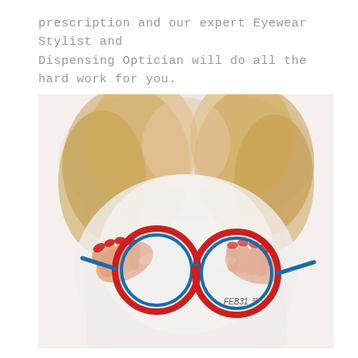prescription and our expert Eyewear Stylist and Dispensing Optician will do all the hard work for you.
[Figure (photo): A woman with blonde hair holding up a pair of round red and blue eyeglasses (FEB31st brand) with red painted fingernails, photographed against a white background. The glasses are in sharp focus in the foreground while the woman is blurred in the background.]